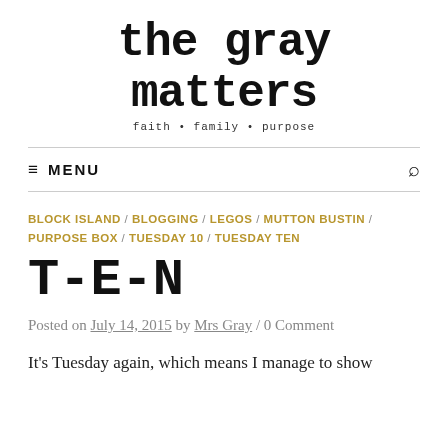the gray matters
faith • family • purpose
≡ MENU
BLOCK ISLAND / BLOGGING / LEGOS / MUTTON BUSTIN / PURPOSE BOX / TUESDAY 10 / TUESDAY TEN
T-E-N
Posted on July 14, 2015 by Mrs Gray / 0 Comment
It's Tuesday again, which means I manage to show